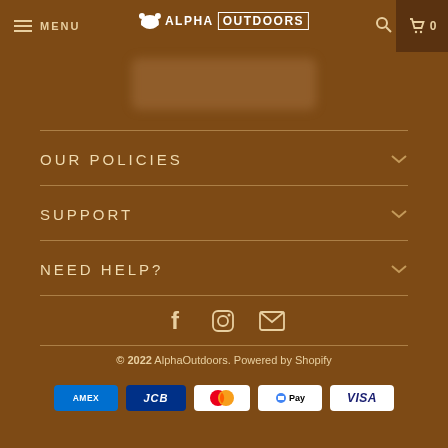MENU | ALPHA OUTDOORS | 0
[Figure (other): Blurred/redacted content area]
OUR POLICIES
SUPPORT
NEED HELP?
[Figure (other): Social media icons: Facebook, Instagram, Email]
© 2022 AlphaOutdoors. Powered by Shopify
[Figure (other): Payment icons: AMEX, JCB, Mastercard, GPay, VISA]